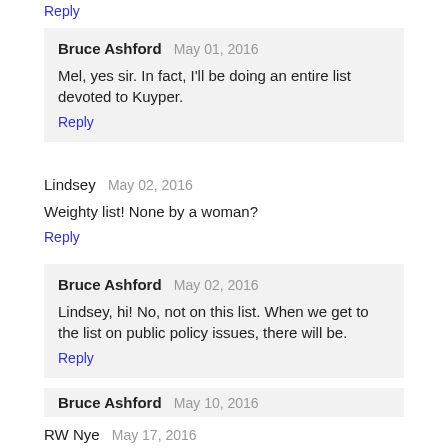Reply
Bruce Ashford   May 01, 2016
Mel, yes sir. In fact, I'll be doing an entire list devoted to Kuyper.
Reply
Lindsey   May 02, 2016
Weighty list! None by a woman?
Reply
Bruce Ashford   May 02, 2016
Lindsey, hi! No, not on this list. When we get to the list on public policy issues, there will be.
Reply
Bruce Ashford   May 10, 2016
Diane, thank you. You are very kind.
Reply
RW Nye   May 17, 2016